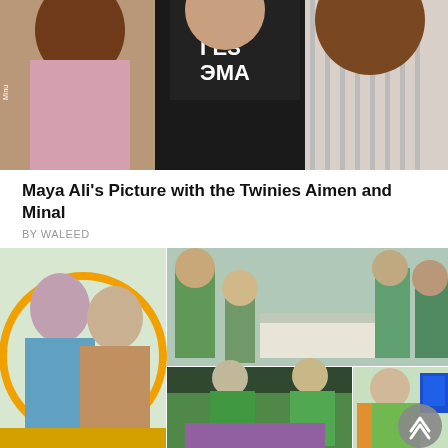[Figure (photo): Close-up photo of three people, appears to show Maya Ali with Aimen and Minal twins. Black t-shirt with text visible in center.]
Maya Ali’s Picture with the Twinies Aimen and Minal
BY WALEED
[Figure (photo): Collage of multiple photos showing celebrities gathered to make a cookies flag. Green-themed gathering with people in green outfits working on a large green surface.]
Celebrities Gathered to Make Biggest Cookies Flag